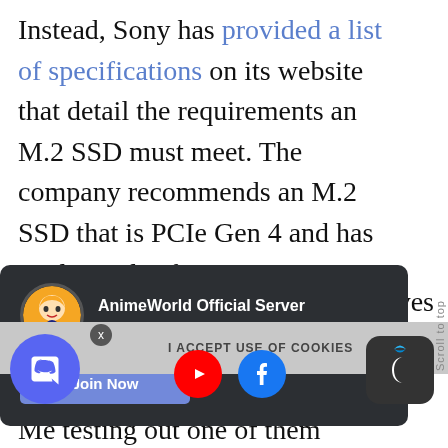Instead, Sony has provided a list of specifications on its website that detail the requirements an M.2 SSD must meet. The company recommends an M.2 SSD that is PCIe Gen 4 and has read speeds of 5,500MB/s or more. On that same page are [partially obscured] rives [partially obscured] of the
[Figure (screenshot): A dark-themed Discord server invitation popup overlay. Contains a circular anime-style avatar, the text 'Anime World Official Server', subtitle 'The greatest Weebs Only Server!', and a purple 'Join Now' button.]
[Figure (screenshot): A cookie consent bar at the bottom reading 'I ACCEPT USE OF COOKIES', overlaid with a Discord floating action button, a YouTube button, a Facebook button, and a nightmode crescent moon icon on the right.]
Me testing out one of them